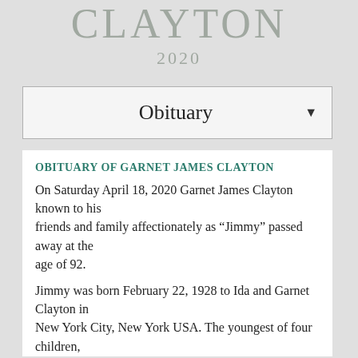CLAYTON
2020
Obituary
OBITUARY OF GARNET JAMES CLAYTON
On Saturday April 18, 2020 Garnet James Clayton known to his friends and family affectionately as “Jimmy” passed away at the age of 92.
Jimmy was born February 22, 1928 to Ida and Garnet Clayton in New York City, New York USA. The youngest of four children,